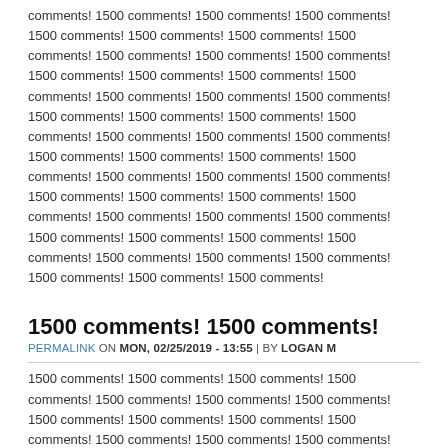comments! 1500 comments! 1500 comments! 1500 comments! 1500 comments! 1500 comments! 1500 comments! 1500 comments! 1500 comments! 1500 comments! 1500 comments! 1500 comments! 1500 comments! 1500 comments! 1500 comments! 1500 comments! 1500 comments! 1500 comments! 1500 comments! 1500 comments! 1500 comments! 1500 comments! 1500 comments! 1500 comments! 1500 comments! 1500 comments! 1500 comments!
1500 comments! 1500 comments!
PERMALINK ON MON, 02/25/2019 - 13:55 | BY LOGAN M
1500 comments! 1500 comments! 1500 comments! 1500 comments! 1500 comments! 1500 comments! 1500 comments! 1500 comments! 1500 comments! 1500 comments! 1500 comments! 1500 comments! 1500 comments! 1500 comments! 1500 comments! 1500